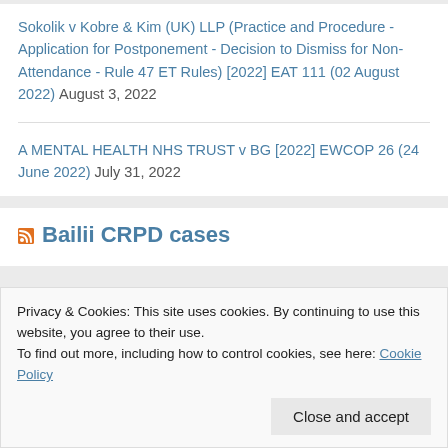Sokolik v Kobre & Kim (UK) LLP (Practice and Procedure - Application for Postponement - Decision to Dismiss for Non-Attendance - Rule 47 ET Rules) [2022] EAT 111 (02 August 2022) August 3, 2022
A MENTAL HEALTH NHS TRUST v BG [2022] EWCOP 26 (24 June 2022) July 31, 2022
Bailii CRPD cases
Privacy & Cookies: This site uses cookies. By continuing to use this website, you agree to their use. To find out more, including how to control cookies, see here: Cookie Policy